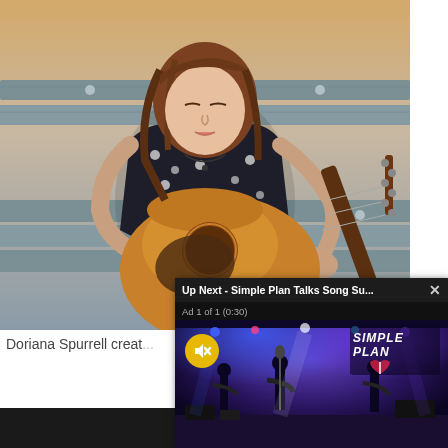[Figure (photo): Young woman with long brown hair sitting outdoors playing an acoustic guitar, wearing a floral top, against a grey wooden backdrop with warm evening light]
Doriana Spurrell creat...
[Figure (screenshot): Video ad overlay panel: 'Up Next - Simple Plan Talks Song Su...' with an X close button, 'Ad 1 of 1 (0:30)' label, muted yellow speaker icon button, and a dark concert scene showing Simple Plan performing on a lit stage with their logo visible]